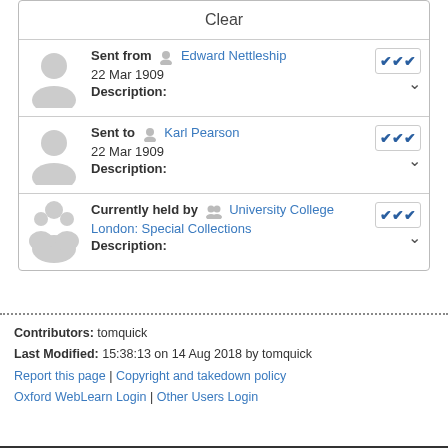Clear
Sent from Edward Nettleship
22 Mar 1909
Description:
Sent to Karl Pearson
22 Mar 1909
Description:
Currently held by University College London: Special Collections
Description:
Contributors: tomquick
Last Modified: 15:38:13 on 14 Aug 2018 by tomquick
Report this page | Copyright and takedown policy
Oxford WebLearn Login | Other Users Login